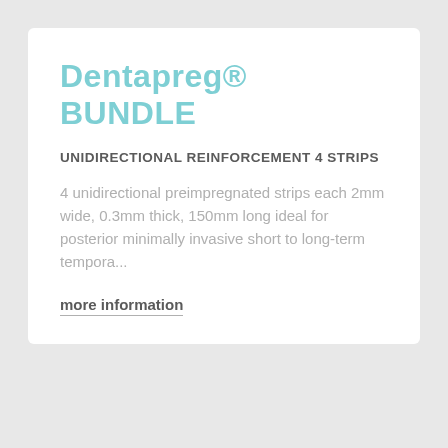Dentapreg® BUNDLE
UNIDIRECTIONAL REINFORCEMENT 4 STRIPS
4 unidirectional preimpregnated strips each 2mm wide, 0.3mm thick, 150mm long ideal for posterior minimally invasive short to long-term tempora...
more information